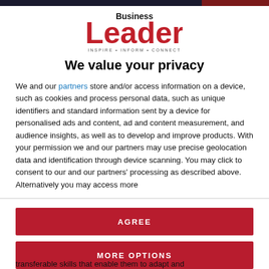[Figure (logo): Business Leader magazine logo with tagline INSPIRE • INFORM • CONNECT]
We value your privacy
We and our partners store and/or access information on a device, such as cookies and process personal data, such as unique identifiers and standard information sent by a device for personalised ads and content, ad and content measurement, and audience insights, as well as to develop and improve products. With your permission we and our partners may use precise geolocation data and identification through device scanning. You may click to consent to our and our partners' processing as described above. Alternatively you may access more
AGREE
MORE OPTIONS
transferable skills that enable them to adapt and